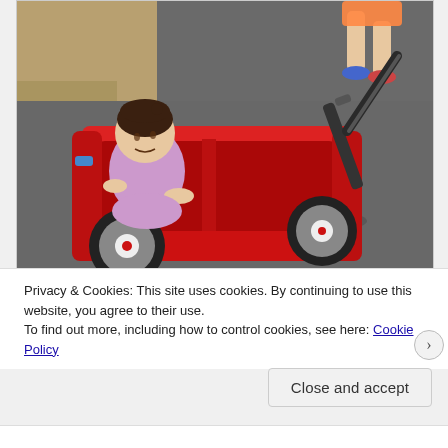[Figure (photo): A toddler girl in a purple shirt sitting in a large red plastic wagon toy being pulled across a paved surface. Another child visible at the top right pulling the handle. Sandy ground visible at the top left.]
Privacy & Cookies: This site uses cookies. By continuing to use this website, you agree to their use.
To find out more, including how to control cookies, see here: Cookie Policy